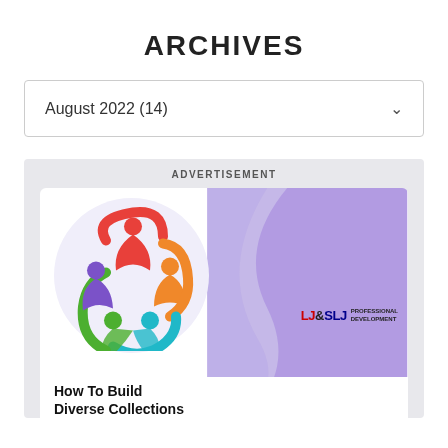ARCHIVES
August 2022  (14)
ADVERTISEMENT
[Figure (illustration): Advertisement banner for LJ & SLJ Professional Development webinar titled 'How To Build Diverse Collections'. Features a colorful circular logo of diverse people figures in red, orange, teal, green, purple colors on a white circle background, with a purple wave design on the right side, and the LJ&SLJ PROFESSIONAL DEVELOPMENT logo text.]